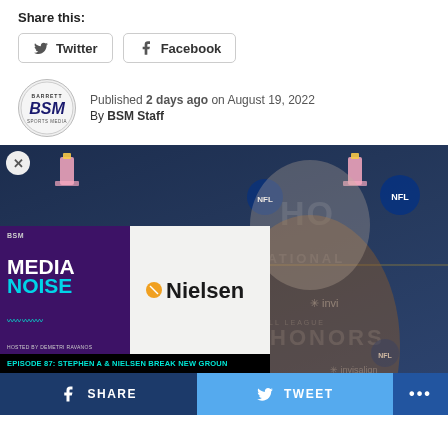Share this:
Twitter | Facebook
Published 2 days ago on August 19, 2022
By BSM Staff
[Figure (screenshot): NFL Honors event photo with man in brown suit laughing, overlaid with Media Noise podcast card featuring Nielsen logo, and EPISODE 87: STEPHEN A & NIELSEN BREAK NEW GROUND text banner. Close button top left. Social share bar at bottom with SHARE, TWEET, and more options.]